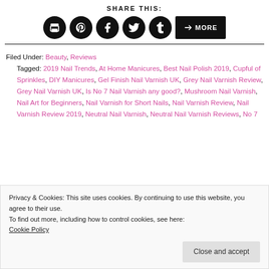SHARE THIS:
[Figure (infographic): Social share buttons: print, Pinterest, Facebook, Twitter, Tumblr, and MORE button]
Filed Under: Beauty, Reviews
Tagged: 2019 Nail Trends, At Home Manicures, Best Nail Polish 2019, Cupful of Sprinkles, DIY Manicures, Gel Finish Nail Varnish UK, Grey Nail Varnish Review, Grey Nail Varnish UK, Is No 7 Nail Varnish any good?, Mushroom Nail Varnish, Nail Art for Beginners, Nail Varnish for Short Nails, Nail Varnish Review, Nail Varnish Review 2019, Neutral Nail Varnish, Neutral Nail Varnish Reviews, No 7
Privacy & Cookies: This site uses cookies. By continuing to use this website, you agree to their use. To find out more, including how to control cookies, see here: Cookie Policy